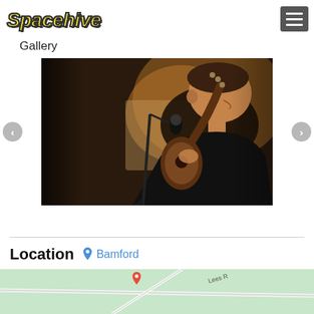Spacehive
Gallery
[Figure (photo): A musician playing acoustic guitar and singing into a microphone in a warmly lit indoor setting. The photo is taken from the side, showing the performer smiling, holding an acoustic guitar, with a microphone and stand in the foreground.]
Location  Bamford
[Figure (map): A partial map showing the Bamford area with a location pin marker and street labels including Lees Road.]